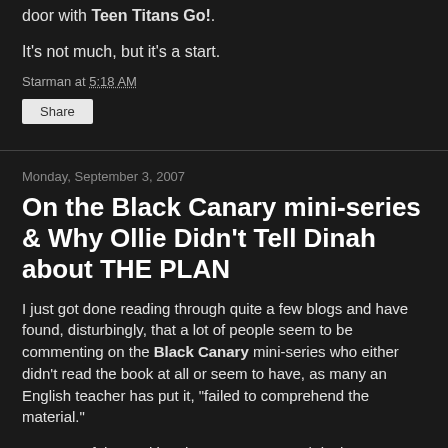door with Teen Titans Go!.
It's not much, but it's a start.
Starman at 5:18 AM
Share
Monday, September 3, 2007
On the Black Canary mini-series & Why Ollie Didn't Tell Dinah about THE PLAN
I just got done reading through quite a few blogs and have found, disturbingly, that a lot of people seem to be commenting on the Black Canary mini-series who either didn't read the book at all or seem to have, as many an English teacher has put it, "failed to comprehend the material."
Now, I'm of the position that a Green Arrow/Black Canary marriage - in general - would be a good thing. I'm not too